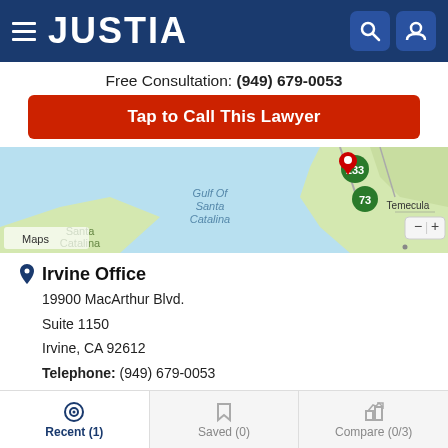JUSTIA
Free Consultation: (949) 679-0053
Tap to Call This Lawyer
[Figure (map): Apple Maps showing Southern California coast with route markers 133 and 73, Gulf of Santa Catalina, Santa Catalina island label, and a red location pin. Temecula label visible on right side. Map controls (minus and plus zoom buttons) visible.]
Irvine Office
19900 MacArthur Blvd.
Suite 1150
Irvine, CA 92612
Telephone: (949) 679-0053
Fax: (888) 706-9850
Los Angeles Office
Recent (1)  Saved (0)  Compare (0/3)